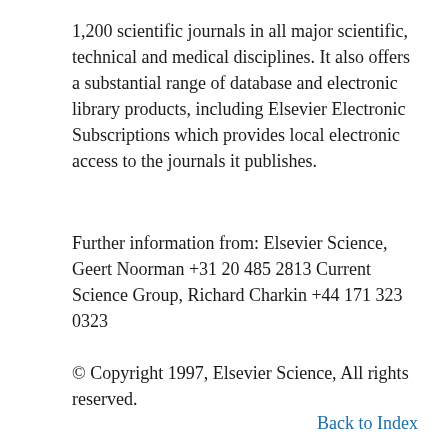1,200 scientific journals in all major scientific, technical and medical disciplines. It also offers a substantial range of database and electronic library products, including Elsevier Electronic Subscriptions which provides local electronic access to the journals it publishes.
Further information from: Elsevier Science, Geert Noorman +31 20 485 2813 Current Science Group, Richard Charkin +44 171 323 0323
© Copyright 1997, Elsevier Science, All rights reserved.
Back to Index